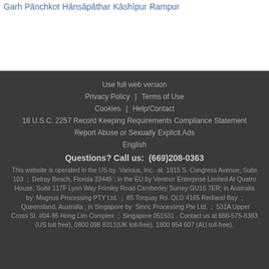Garh Pānchkot
Hānsāpāthar
Kāshīpur
Rampur
Use full web version
Privacy Policy  |  Terms of Use
Cookies  |  Help/Contact
18 U.S.C. 2257 Record Keeping Requirements Compliance Statement
Report Abuse or Sexually Explicit Ads
English
Questions? Call us:  (669)208-0363
This website is operated in the US by  Various, Inc.  at  1615 S. Congress Avenue, Suite 103  ;  Delray Beach, Florida 33445 ; in the EU by Ventnor Enterprise Limited At Quatro House, Suite 117F Lyon Way Frimley Road Camberley Surrey GU16 7ER; in Australia by  Magnus Processing PTY Ltd.  ;  85 Torquay Rd. QLD 4165 Redland Bay  ;  Queensland, Australia ; in Singapore by  Sinric Processing Pte Ltd.  ;  531A Upper Cross St. #04-95 Hong Lim Complex  ;  Singapore 051531 . Contact us at 888-575-8383 (US toll free), 0800 098 8311(UK toll-free), 1800 954 607 (AU toll-free).